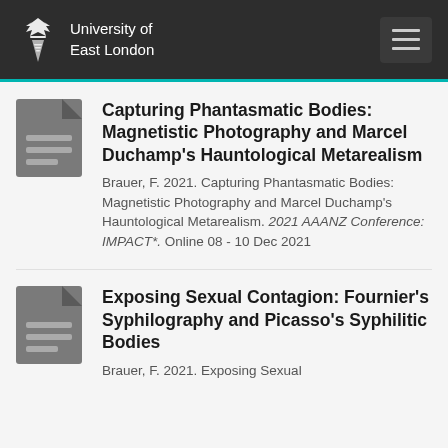University of East London
Capturing Phantasmatic Bodies: Magnetistic Photography and Marcel Duchamp's Hauntological Metarealism
Brauer, F. 2021. Capturing Phantasmatic Bodies: Magnetistic Photography and Marcel Duchamp's Hauntological Metarealism. 2021 AAANZ Conference: IMPACT*. Online 08 - 10 Dec 2021
Exposing Sexual Contagion: Fournier's Syphilography and Picasso's Syphilitic Bodies
Brauer, F. 2021. Exposing Sexual